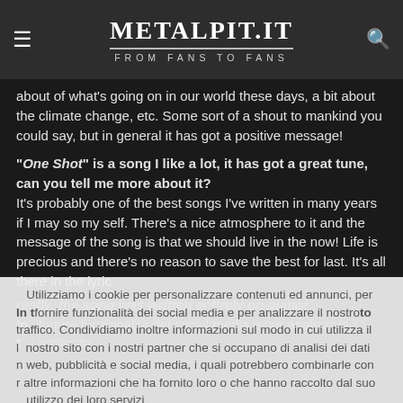METALPIT.IT — FROM FANS TO FANS
about of what's going on in our world these days, a bit about the climate change, etc. Some sort of a shout to mankind you could say, but in general it has got a positive message!
"One Shot" is a song I like a lot, it has got a great tune, can you tell me more about it? It's probably one of the best songs I've written in many years if I may so my self. There's a nice atmosphere to it and the message of the song is that we should live in the now! Life is precious and there's no reason to save the best for last. It's all there in the lyric
really, the song was written entirely on piano!
Utilizziamo i cookie per personalizzare contenuti ed annunci, per fornire funzionalità dei social media e per analizzare il nostro traffico. Condividiamo inoltre informazioni sul modo in cui utilizza il nostro sito con i nostri partner che si occupano di analisi dei dati web, pubblicità e social media, i quali potrebbero combinarle con altre informazioni che ha fornito loro o che hanno raccolto dal suo utilizzo dei loro servizi
ACCETTA   Continua a Leggere
How do you face up the r... of the site?